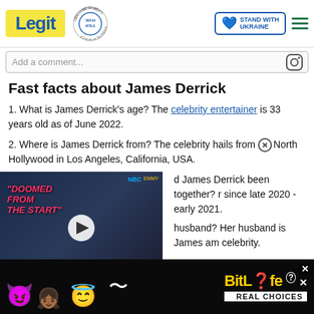Legit | WAN IFRA 2021 Best News Website in Africa | Stand With Ukraine
Add a comment...
Fast facts about James Derrick
1. What is James Derrick's age? The celebrity entertainer is 33 years old as of June 2022.
2. Where is James Derrick from? The celebrity hails from North Hollywood in Los Angeles, California, USA.
...d James Derrick been together? r since late 2020 - early 2021.
...husband? Her husband is James ...am celebrity.
[Figure (screenshot): Video thumbnail with text 'DOOMED FROM THE START' and play button, showing two people. Red chevron down button at bottom.]
[Figure (screenshot): BitLife Real Choices advertisement banner at bottom of page]